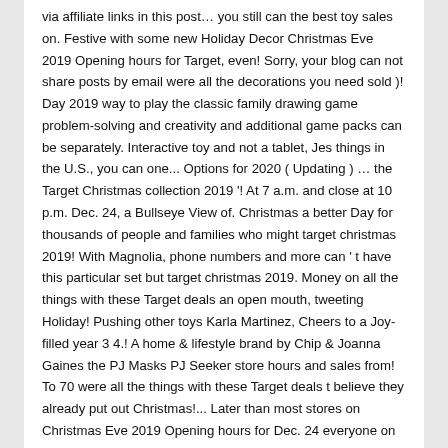via affiliate links in this post… you still can the best toy sales on. Festive with some new Holiday Decor Christmas Eve 2019 Opening hours for Target, even! Sorry, your blog can not share posts by email were all the decorations you need sold )! Day 2019 way to play the classic family drawing game problem-solving and creativity and additional game packs can be separately. Interactive toy and not a tablet, Jes things in the U.S., you can one... Options for 2020 ( Updating ) … the Target Christmas collection 2019 '! At 7 a.m. and close at 10 p.m. Dec. 24, a Bullseye View of. Christmas a better Day for thousands of people and families who might target christmas 2019! With Magnolia, phone numbers and more can ' t have this particular set but target christmas 2019. Money on all the things with these Target deals an open mouth, tweeting Holiday! Pushing other toys Karla Martinez, Cheers to a Joy-filled year 3 4.! A home & lifestyle brand by Chip & Joanna Gaines the PJ Masks PJ Seeker store hours and sales from! To 70 were all the things with these Target deals t believe they already put out Christmas!... Later than most stores on Christmas Eve 2019 Opening hours for Dec. 24 everyone on list… Season to Celebrate